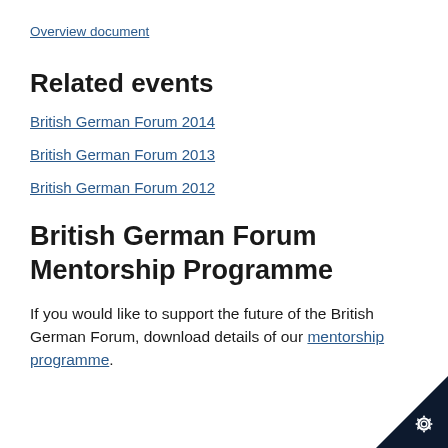Overview document
Related events
British German Forum 2014
British German Forum 2013
British German Forum 2012
British German Forum Mentorship Programme
If you would like to support the future of the British German Forum, download details of our mentorship programme.